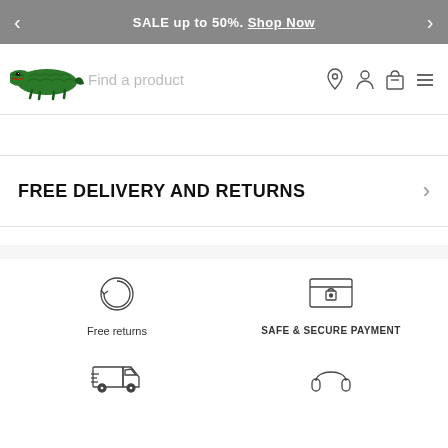SALE up to 50%. Shop Now
[Figure (logo): Lacoste crocodile logo, green]
Find a product
FREE DELIVERY AND RETURNS
[Figure (infographic): Free returns circular arrow icon with label 'Free returns'; Safe & Secure Payment card-lock icon with label 'SAFE & SECURE PAYMENT']
[Figure (infographic): Delivery truck icon (bottom row, partial); Headphones icon (bottom row, partial)]